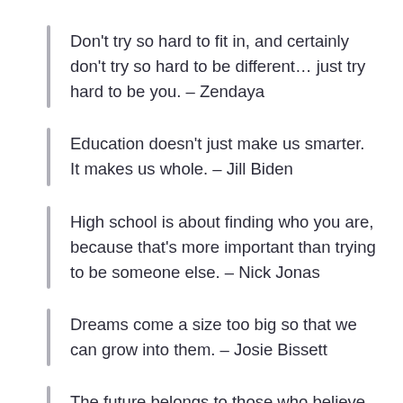Don't try so hard to fit in, and certainly don't try so hard to be different… just try hard to be you. – Zendaya
Education doesn't just make us smarter. It makes us whole. – Jill Biden
High school is about finding who you are, because that's more important than trying to be someone else. – Nick Jonas
Dreams come a size too big so that we can grow into them. – Josie Bissett
The future belongs to those who believe in the